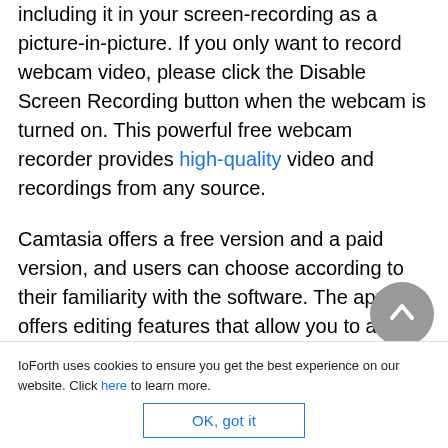including it in your screen-recording as a picture-in-picture. If you only want to record webcam video, please click the Disable Screen Recording button when the webcam is turned on. This powerful free webcam recorder provides high-quality video and recordings from any source.
Camtasia offers a free version and a paid version, and users can choose according to their familiarity with the software. The app offers editing features that allow you to add animations, move media, and hide into videos. He also provides a lot of
IoForth uses cookies to ensure you get the best experience on our website. Click here to learn more.
OK, got it